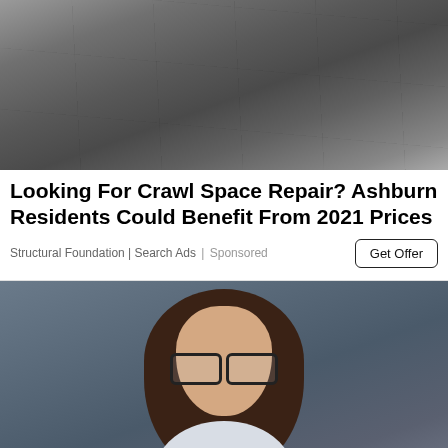[Figure (photo): Dark cracked concrete or crawl space interior, top portion of advertisement image]
Looking For Crawl Space Repair? Ashburn Residents Could Benefit From 2021 Prices
Structural Foundation | Search Ads | Sponsored
Get Offer
[Figure (photo): Professional woman with long brown hair, wearing glasses and a white blazer, smiling, on a grey background. Scroll-to-top arrow button visible in bottom right corner.]